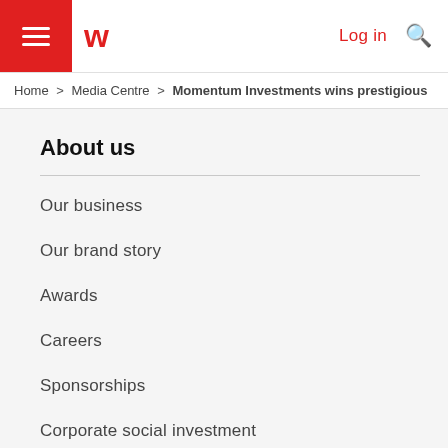Momentum Investments website header with hamburger menu, logo, Log in link, and search icon
Home > Media Centre > Momentum Investments wins prestigious
About us
Our business
Our brand story
Awards
Careers
Sponsorships
Corporate social investment
Momentum Unisa research insights centre